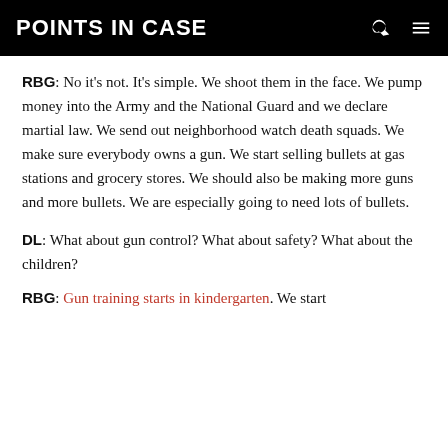POINTS IN CASE
RBG: No it's not. It's simple. We shoot them in the face. We pump money into the Army and the National Guard and we declare martial law. We send out neighborhood watch death squads. We make sure everybody owns a gun. We start selling bullets at gas stations and grocery stores. We should also be making more guns and more bullets. We are especially going to need lots of bullets.
DL: What about gun control? What about safety? What about the children?
RBG: Gun training starts in kindergarten. We start